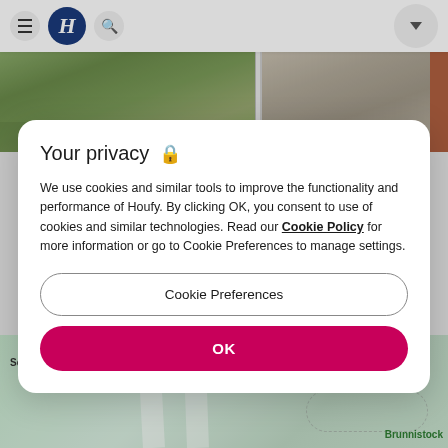[Figure (screenshot): Website header bar with hamburger menu, Houfy logo (H in blue circle), search icon, and dropdown arrow button on the right]
[Figure (photo): Photo strip showing two outdoor property photos: garden/lawn area and a bench near a building]
Your privacy 🔒
We use cookies and similar tools to improve the functionality and performance of Houfy. By clicking OK, you consent to use of cookies and similar technologies. Read our Cookie Policy for more information or go to Cookie Preferences to manage settings.
Cookie Preferences
OK
[Figure (map): Map showing Schluchberg area with location pin, WALDEN text labels, lake, and Brunnistock label in green]